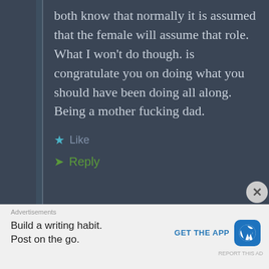both know that normally it is assumed that the female will assume that role. What I won't do though. is congratulate you on doing what you should have been doing all along. Being a mother fucking dad.
Like
Reply
Advertisements
Build a writing habit. Post on the go.
GET THE APP